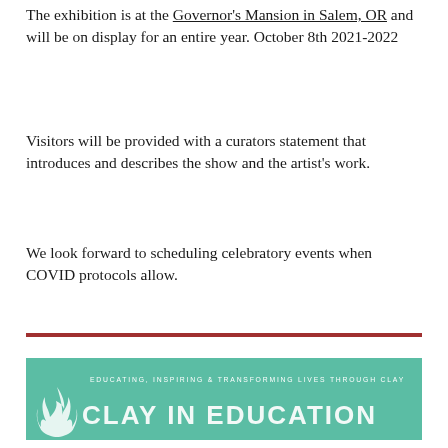The exhibition is at the Governor's Mansion in Salem, OR and will be on display for an entire year. October 8th 2021-2022
Visitors will be provided with a curators statement that introduces and describes the show and the artist's work.
We look forward to scheduling celebratory events when COVID protocols allow.
[Figure (logo): Clay in Education banner — teal/green background with flame logo, tagline 'EDUCATING, INSPIRING & TRANSFORMING LIVES THROUGH CLAY', and large white text 'CLAY IN EDUCATION' partially visible]